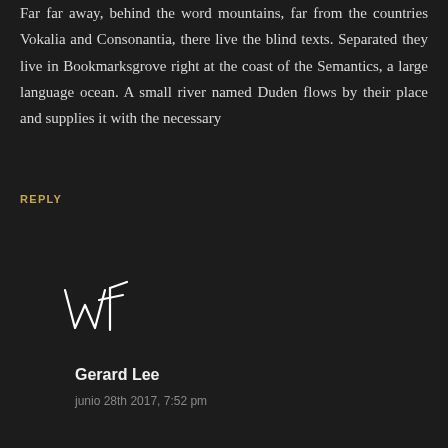Far far away, behind the word mountains, far from the countries Vokalia and Consonantia, there live the blind texts. Separated they live in Bookmarksgrove right at the coast of the Semantics, a large language ocean. A small river named Duden flows by their place and supplies it with the necessary
REPLY
[Figure (illustration): A handwritten-style signature or monogram logo in white strokes on dark background, resembling 'wT' letters with artistic flourish]
Gerard Lee
junio 28th 2017, 7:52 pm